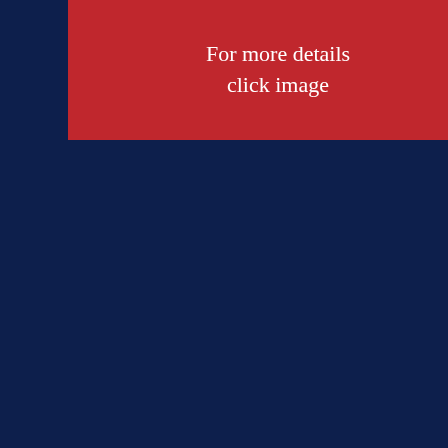[Figure (other): Red button/banner with white text reading 'For more details click image' on a dark navy blue background]
knives. Fo... would like... moving ex... Austin alw...
Having co... technique...
Each pain... Moseley a... can be sh...
You are vi... contempo... contempo... varied sel... and vistas... within the... to represe...
The Red R... covering B... Landscap... details on...
Many of th... started an... being pain... shown he... each artis... of contem...
Red Rag...